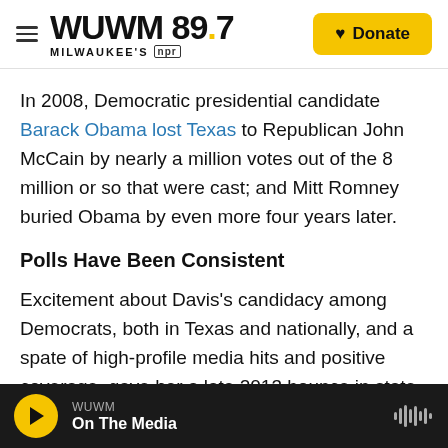WUWM 89.7 Milwaukee's NPR | Donate
In 2008, Democratic presidential candidate Barack Obama lost Texas to Republican John McCain by nearly a million votes out of the 8 million or so that were cast; and Mitt Romney buried Obama by even more four years later.
Polls Have Been Consistent
Excitement about Davis's candidacy among Democrats, both in Texas and nationally, and a spate of high-profile media hits and positive coverage, gave her a late 2013 bounce in state polls.
WUWM | On The Media